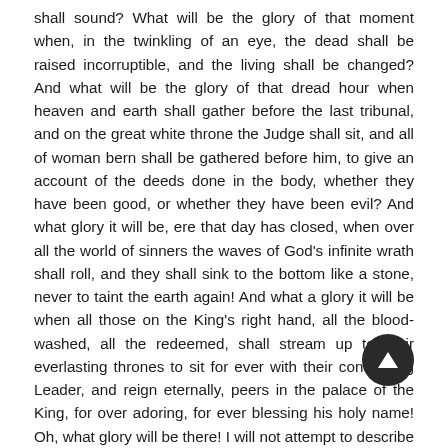shall sound? What will be the glory of that moment when, in the twinkling of an eye, the dead shall be raised incorruptible, and the living shall be changed? And what will be the glory of that dread hour when heaven and earth shall gather before the last tribunal, and on the great white throne the Judge shall sit, and all of woman bern shall be gathered before him, to give an account of the deeds done in the body, whether they have been good, or whether they have been evil? And what glory it will be, ere that day has closed, when over all the world of sinners the waves of God's infinite wrath shall roll, and they shall sink to the bottom like a stone, never to taint the earth again! And what a glory it will be when all those on the King's right hand, all the blood-washed, all the redeemed, shall stream up to their everlasting thrones to sit for ever with their conquering Leader, and reign eternally, peers in the palace of the King, for over adoring, for ever blessing his holy name! Oh, what glory will be there! I will not attempt to describe it, for even the angels, who axe in heaven, desire to look into this mystery, for even they scarcely know what will be the glory of “the general assembly